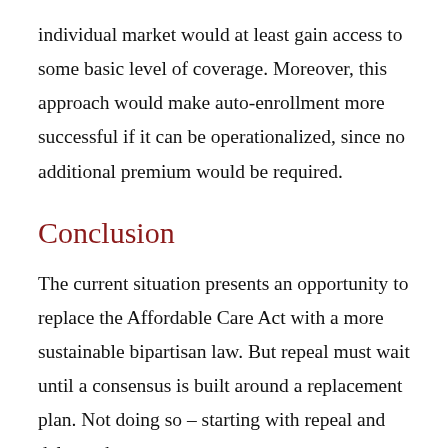individual market would at least gain access to some basic level of coverage. Moreover, this approach would make auto-enrollment more successful if it can be operationalized, since no additional premium would be required.
Conclusion
The current situation presents an opportunity to replace the Affordable Care Act with a more sustainable bipartisan law. But repeal must wait until a consensus is built around a replacement plan. Not doing so – starting with repeal and delay – threatens